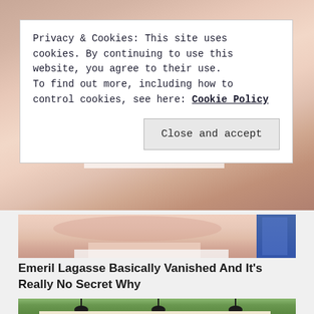[Figure (photo): Close-up photo of a person's face, mostly forehead and upper face visible at top]
Privacy & Cookies: This site uses cookies. By continuing to use this website, you agree to their use.
To find out more, including how to control cookies, see here: Cookie Policy
Close and accept
[Figure (photo): Close-up of a man's lower face/chin area, reddish complexion, white collar visible, blue background element]
Emeril Lagasse Basically Vanished And It's Really No Secret Why
[Figure (photo): Cracker Barrel restaurant logo sign, orange and brown colors]